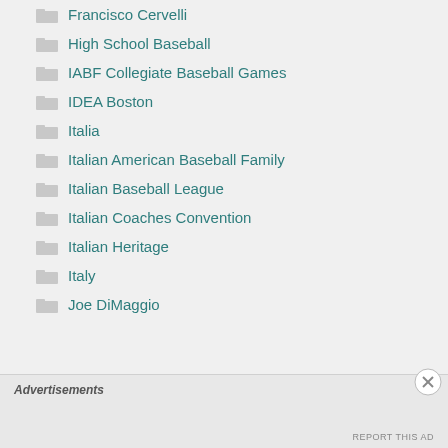Francisco Cervelli
High School Baseball
IABF Collegiate Baseball Games
IDEA Boston
Italia
Italian American Baseball Family
Italian Baseball League
Italian Coaches Convention
Italian Heritage
Italy
Joe DiMaggio
Advertisements